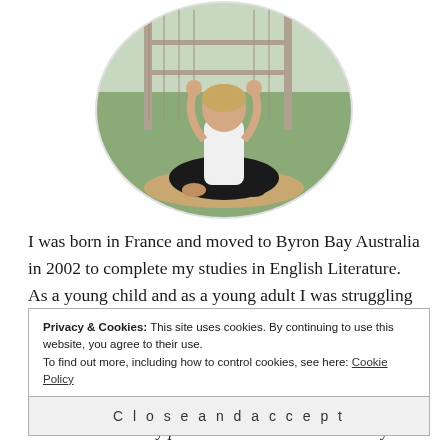[Figure (photo): Woman in white t-shirt and black pants sitting cross-legged on a yoga mat in a meditation pose with arms raised, outdoors with greenery in background, displayed in a circular crop.]
I was born in France and moved to Byron Bay Australia in 2002 to complete my studies in English Literature. As a young child and as a young adult I was struggling with stress, anxiety, and an overthinking mind.
Privacy & Cookies: This site uses cookies. By continuing to use this website, you agree to their use.
To find out more, including how to control cookies, see here: Cookie Policy
Close and accept
me that most of my problems came from within myself